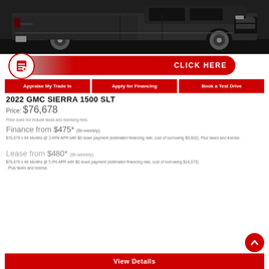[Figure (photo): Side profile photo of a black 2022 GMC Sierra 1500 SLT pickup truck on dark asphalt background]
[Figure (infographic): Red and gray gradient banner button with white document/percent icon and text CLICK HERE]
Appraise My Trade In
Apply for Financing
Book a Test Drive
2022 GMC SIERRA 1500 SLT
Price: $76,678
Price does not include taxes and licensing fees.
Finance from $475* (Bi-weekly)
$76,678 x 84 Months @ 3.49% APR with $0 down payment (estimated financing rate, cost of borrowing $9,802). Plus taxes and license.
Lease from $480* (Bi-weekly)
$76,678 x 48 Months @ 5.9% APR with $0 down payment (estimated financing rate, cost of borrowing $14,073). Plus taxes and license.
View Details